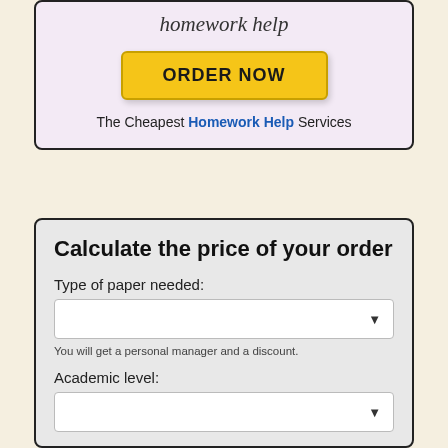homework help
ORDER NOW
The Cheapest Homework Help Services
Calculate the price of your order
Type of paper needed:
You will get a personal manager and a discount.
Academic level: